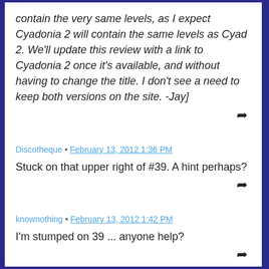contain the very same levels, as I expect Cyadonia 2 will contain the same levels as Cyad 2. We'll update this review with a link to Cyadonia 2 once it's available, and without having to change the title. I don't see a need to keep both versions on the site. -Jay]
Discotheque • February 13, 2012 1:36 PM
Stuck on that upper right of #39. A hint perhaps?
knownothing • February 13, 2012 1:42 PM
I'm stumped on 39 ... anyone help?